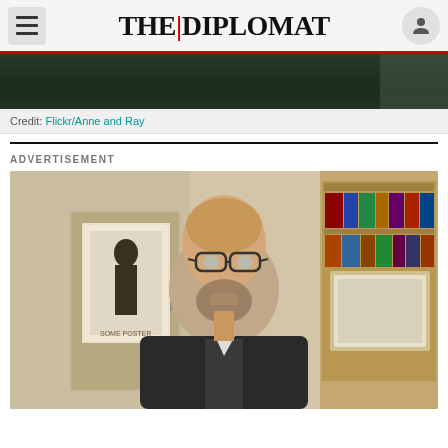THE | DIPLOMAT
[Figure (photo): Dark landscape/road photo strip — top portion of an article image]
Credit: Flickr/Anne and Ray
ADVERTISEMENT
[Figure (photo): Video still of a bald man with glasses and a beard wearing a dark jacket, sitting in a home office with bookshelves and a framed poster behind him]